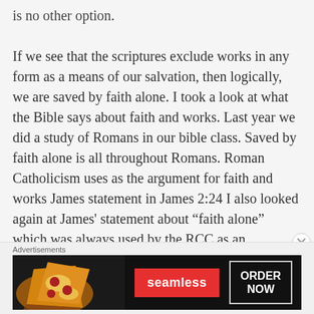is no other option.

If we see that the scriptures exclude works in any form as a means of our salvation, then logically, we are saved by faith alone. I took a look at what the Bible says about faith and works. Last year we did a study of Romans in our bible class. Saved by faith alone is all throughout Romans. Roman Catholicism uses as the argument for faith and works James statement in James 2:24 I also looked again at James' statement about “faith alone” which was always used by the RCC as an argument against the Protestant doctrine of Justification by faith alone and I will state what I believe is the misinterpretation
[Figure (other): Advertisement banner showing Seamless food delivery service with pizza image, red 'seamless' button and 'ORDER NOW' button on dark background]